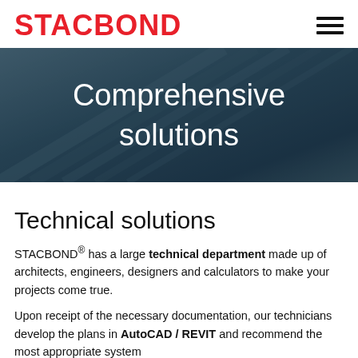STACBOND
[Figure (photo): Construction workers on a large curved building facade with metal cladding panels, dark overlay with text 'Comprehensive solutions']
Comprehensive solutions
Technical solutions
STACBOND® has a large technical department made up of architects, engineers, designers and calculators to make your projects come true.
Upon receipt of the necessary documentation, our technicians develop the plans in AutoCAD / REVIT and recommend the most appropriate system